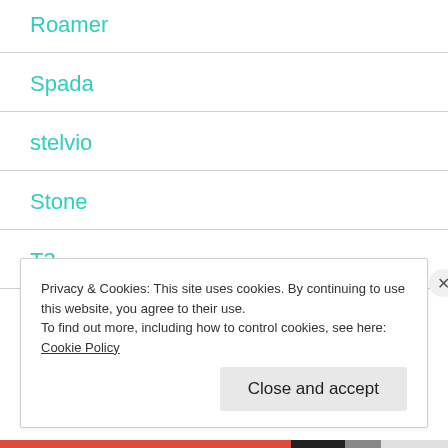Roamer
Spada
stelvio
Stone
T3
Privacy & Cookies: This site uses cookies. By continuing to use this website, you agree to their use.
To find out more, including how to control cookies, see here: Cookie Policy
Close and accept